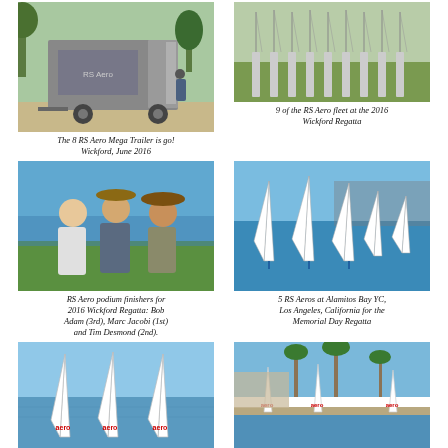[Figure (photo): A gray cargo trailer parked on a dirt path near trees, with a person standing at the open door.]
[Figure (photo): Row of RS Aero sailboats parked on grass with masts up at the 2016 Wickford Regatta.]
9 of the RS Aero fleet at the 2016 Wickford Regatta
The 8 RS Aero Mega Trailer is go! Wickford, June 2016
[Figure (photo): Three men standing together outdoors near water, smiling, RS Aero podium finishers.]
[Figure (photo): Five RS Aero sailboats racing on blue water at Alamitos Bay YC.]
RS Aero podium finishers for 2016 Wickford Regatta: Bob Adam (3rd), Marc Jacobi (1st) and Tim Desmond (2nd).
5 RS Aeros at Alamitos Bay YC, Los Angeles, California for the Memorial Day Regatta
[Figure (photo): Three RS Aero sailboats with white sails marked 'aero' on calm water.]
[Figure (photo): RS Aero sailboats near a dock with palm trees in background, Cinco de Mayo Regatta, Santa Barbara.]
Cinco de Mayo Regatta, Santa Barbara, California, April 2016